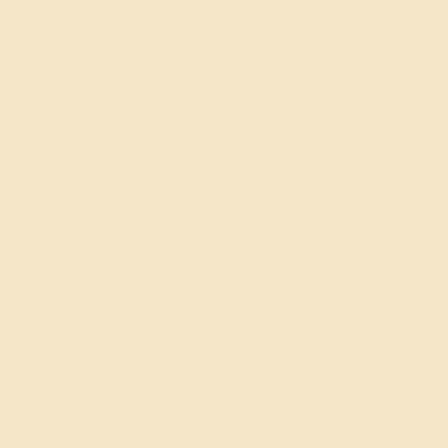[Figure (logo): East Sun Chinese Restaurant logo banner with orange-yellow gradient background, 'East S' in large dark italic text, Chinese characters 東 and 方, 'CHINESE RESTAURANT' in red bold text, address '617 N Franklin St. Cuba,' at bottom]
East Sun Chinese Re
Cuba MO 65453
Phone: 573-885-6395